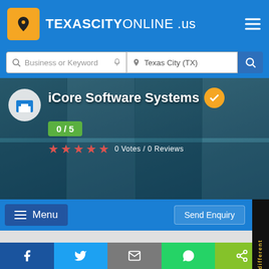TEXASCITYONLINE.us
Business or Keyword | Texas City (TX)
iCore Software Systems
0 / 5
0 Votes / 0 Reviews
Menu
Send Enquiry
We are different
Facebook | Twitter | Email | WhatsApp | Share